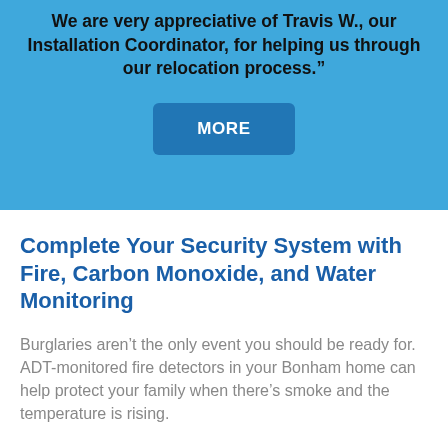We are very appreciative of Travis W., our Installation Coordinator, for helping us through our relocation process.”
[Figure (other): Blue button labeled MORE]
Complete Your Security System with Fire, Carbon Monoxide, and Water Monitoring
Burglaries aren’t the only event you should be ready for. ADT-monitored fire detectors in your Bonham home can help protect your family when there’s smoke and the temperature is rising.